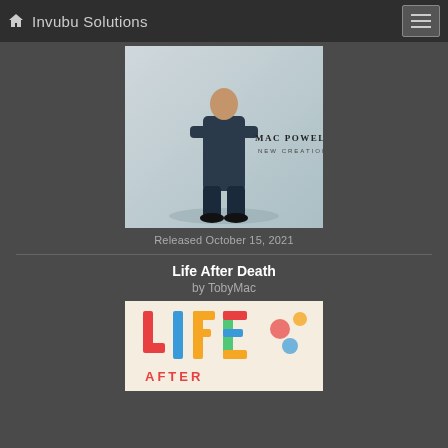Invubu Solutions
[Figure (photo): Mac Powell - New Creation album cover, showing a man in dark clothing standing against a light background with text 'MAC POWELL NEW CREATION']
Released October 15, 2021
Life After Death
by TobyMac
[Figure (photo): Life After Death album cover by TobyMac with colorful typography showing 'LIFE AFTER' text in bold multicolored letters]